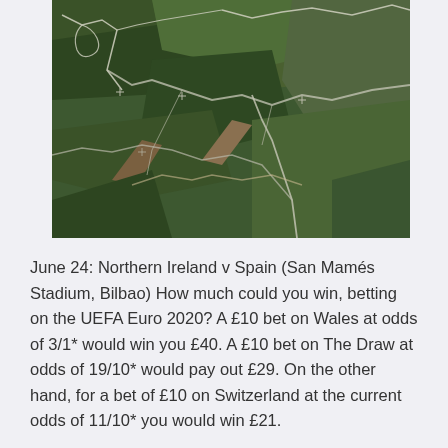[Figure (photo): Aerial photograph of mountainous green landscape with winding roads and paths cutting through the terrain, viewed from above.]
June 24: Northern Ireland v Spain (San Mamés Stadium, Bilbao) How much could you win, betting on the UEFA Euro 2020? A £10 bet on Wales at odds of 3/1* would win you £40. A £10 bet on The Draw at odds of 19/10* would pay out £29. On the other hand, for a bet of £10 on Switzerland at the current odds of 11/10* you would win £21.